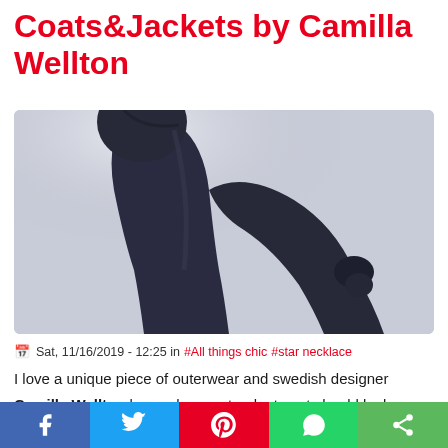Coats&Jackets by Camilla Wellton
[Figure (photo): Close-up side/back view of a model wearing a dark navy/charcoal structured coat against a light grey background; the shoulder and upper arm area is prominent with the head slightly visible at top.]
Sat, 11/16/2019 - 12:25 in #All things chic #star necklace
I love a unique piece of outerwear and swedish designer Camilla Wellton knows how a standout coat should look. The fall/winter 2009 capsule... read more
f | Twitter bird | Pinterest P | WhatsApp | Share